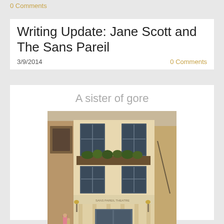0 Comments
Writing Update: Jane Scott and The Sans Pareil
3/9/2014
0 Comments
A sister of gore
[Figure (illustration): Historical illustration of the Sans Pareil theatre building facade, showing a multi-storey Georgian building with large windows, columns at the entrance, window boxes with plants, and figures standing near the entrance.]